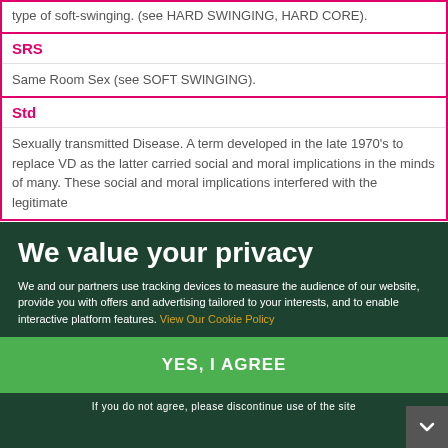type of soft-swinging. (see HARD SWINGING, HARD CORE).
SRS
Same Room Sex (see SOFT SWINGING).
Std
Sexually transmitted Disease. A term developed in the late 1970's to replace VD as the latter carried social and moral implications in the minds of many. These social and moral implications interfered with the legitimate [treatment of what is basically a medical problem]
Str or Stro or STRAIGHT
Any person who is not interested in same sex sexual activity or A person who does not use drugs.
SWAPPING
SWF
We value your privacy
We and our partners use tracking devices to measure the audience of our website, provide you with offers and advertising tailored to your interests, and to enable interactive platform features. View Our Cookie Policy
YES, I AGREE
If you do not agree, please discontinue use of the site